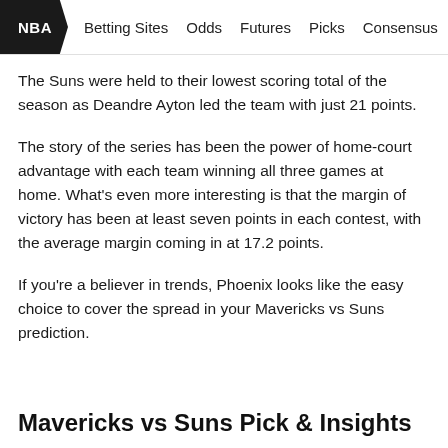NBA | Betting Sites | Odds | Futures | Picks | Consensus | Ma
The Suns were held to their lowest scoring total of the season as Deandre Ayton led the team with just 21 points.
The story of the series has been the power of home-court advantage with each team winning all three games at home. What’s even more interesting is that the margin of victory has been at least seven points in each contest, with the average margin coming in at 17.2 points.
If you’re a believer in trends, Phoenix looks like the easy choice to cover the spread in your Mavericks vs Suns prediction.
Mavericks vs Suns Pick & Insights